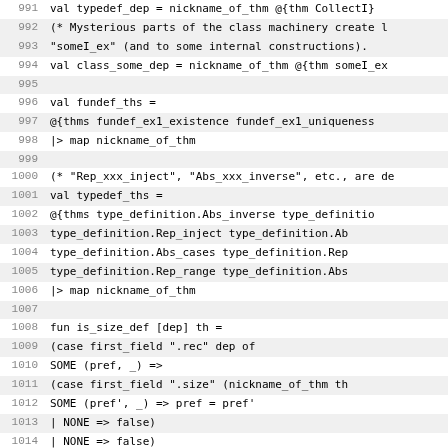Code listing lines 991-1022 showing ML/theorem prover source code in a functional language (Isabelle/SML)